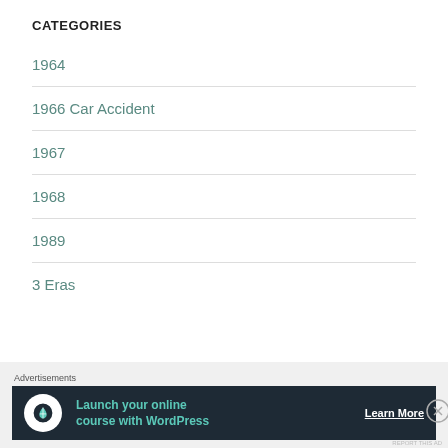CATEGORIES
1964
1966 Car Accident
1967
1968
1989
3 Eras
Advertisements
Launch your online course with WordPress  Learn More